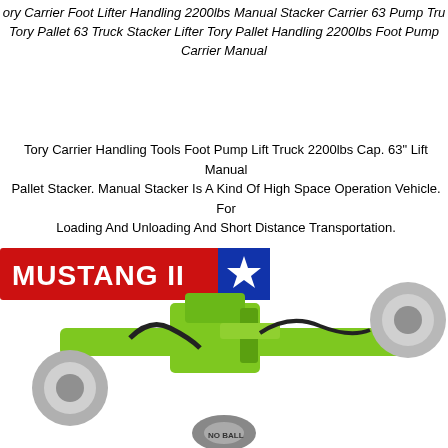ory Carrier Foot Lifter Handling 2200lbs Manual Stacker Carrier 63 Pump Tru Tory Pallet 63 Truck Stacker Lifter Tory Pallet Handling 2200lbs Foot Pump Carrier Manual
Tory Carrier Handling Tools Foot Pump Lift Truck 2200lbs Cap. 63" Lift Manual Pallet Stacker. Manual Stacker Is A Kind Of High Space Operation Vehicle. For Loading And Unloading And Short Distance Transportation.
[Figure (photo): Product image showing a Mustang II logo badge (red background with white text and a blue star) and a bright green automotive suspension assembly component.]